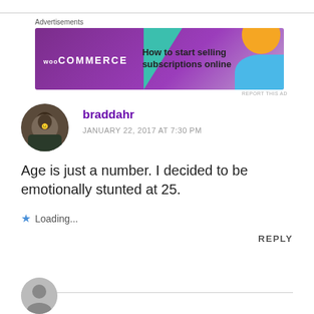[Figure (illustration): WooCommerce advertisement banner: purple background with teal triangle, orange circle, blue arc. Text: 'How to start selling subscriptions online']
braddahr
JANUARY 22, 2017 AT 7:30 PM
Age is just a number. I decided to be emotionally stunted at 25.
Loading...
REPLY